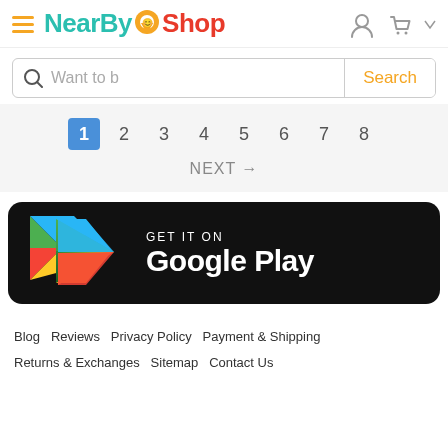NearBy Shop — header with hamburger menu, logo, user icon, cart icon
Want to b   Search
1  2  3  4  5  6  7  8
NEXT →
[Figure (screenshot): Google Play Store download badge — black rounded rectangle with Google Play triangle logo and text 'GET IT ON Google Play']
Blog   Reviews   Privacy Policy   Payment & Shipping   Returns & Exchanges   Sitemap   Contact Us